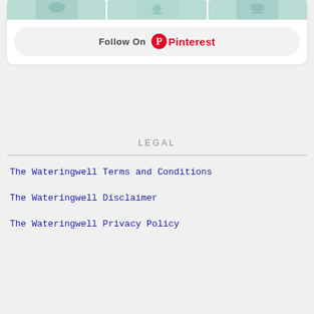[Figure (screenshot): Three image thumbnails showing map/nature content, part of a Pinterest widget card]
Follow On Pinterest
LEGAL
The Wateringwell Terms and Conditions
The Wateringwell Disclaimer
The Wateringwell Privacy Policy